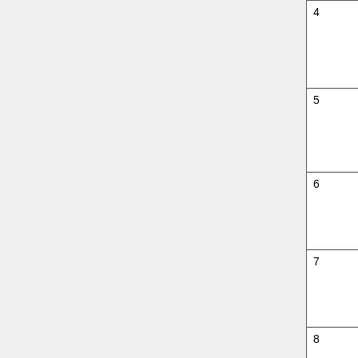| # | Name | Description |
| --- | --- | --- |
| 4 | Input_Opt%LWINDO_NA | Set th GEOS over t doma |
| 5 | Input_Opt%TPBC_DIR_NA | The d boun Amer |
| 6 | Input_Opt%LWINDO_EU | Set th GEOS over t |
| 7 | Input_Opt%TPBC_DIR_EU | The d boun Europ |
| 8 | Input_Opt%LWINDO_CH | Set th GEOS over t doma |
| 9 | Input_Opt%TPBC_DIR_CH | Whic |